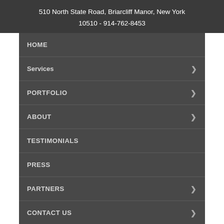510 North State Road, Briarcliff Manor, New York
10510 - 914-762-8453
HOME
Services
PORTFOLIO
ABOUT
TESTIMONIALS
PRESS
PARTNERS
CONTACT US
BLOG